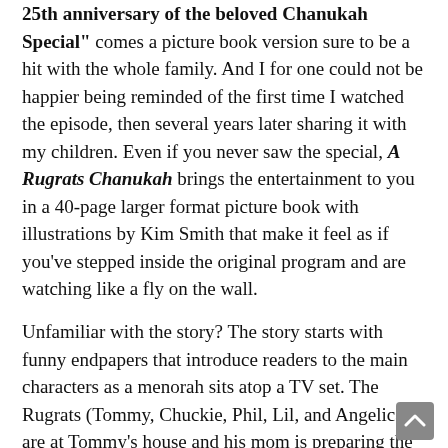25th anniversary of the beloved Chanukah Special" comes a picture book version sure to be a hit with the whole family. And I for one could not be happier being reminded of the first time I watched the episode, then several years later sharing it with my children. Even if you never saw the special, A Rugrats Chanukah brings the entertainment to you in a 40-page larger format picture book with illustrations by Kim Smith that make it feel as if you've stepped inside the original program and are watching like a fly on the wall.
Unfamiliar with the story? The story starts with funny endpapers that introduce readers to the main characters as a menorah sits atop a TV set. The Rugrats (Tommy, Chuckie, Phil, Lil, and Angelica) are at Tommy's house and his mom is preparing the latkes. Meanwhile, Grandma Minka reads the little ones a story about